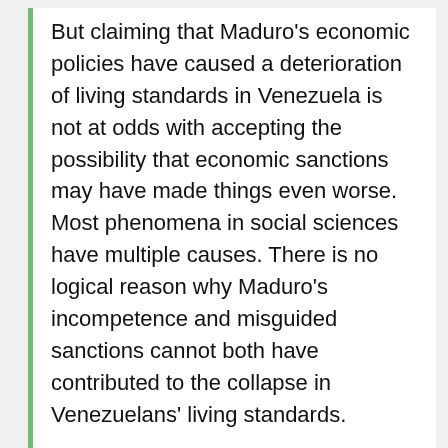But claiming that Maduro's economic policies have caused a deterioration of living standards in Venezuela is not at odds with accepting the possibility that economic sanctions may have made things even worse. Most phenomena in social sciences have multiple causes. There is no logical reason why Maduro's incompetence and misguided sanctions cannot both have contributed to the collapse in Venezuelans' living standards.
Advocates of sanctions on Venezuela claim that these target the Maduro